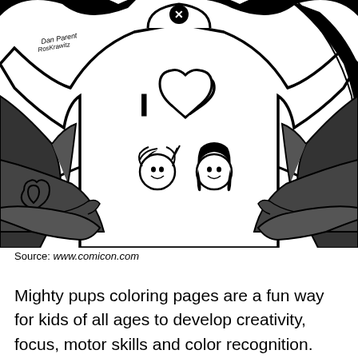[Figure (illustration): Black and white comic book style coloring page illustration of a character wearing a t-shirt that says 'I ❤' with two cartoon girl faces on it. The character has dark hair pulled back and is being grabbed from behind by two arms. There are heart shapes in the background. An artist signature reading 'Dan Parent' is visible in the upper left. A black circle with an X mark appears at the top of the character's head.]
Source: www.comicon.com
Mighty pups coloring pages are a fun way for kids of all ages to develop creativity, focus, motor skills and color recognition. When autocomplete results are available